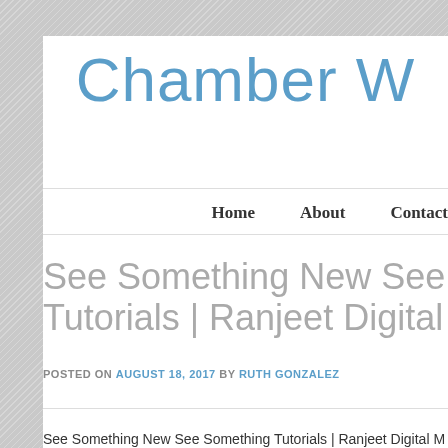Chamber W
Home   About   Contact
See Something New See Something Tutorials | Ranjeet Digital Marketing
POSTED ON AUGUST 18, 2017 BY RUTH GONZALEZ
See Something New See Something Tutorials | Ranjeet Digital M